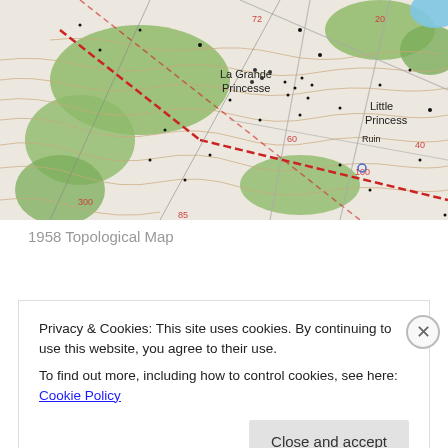[Figure (map): 1958 topological map showing La Grande Princesse and Little Princess areas with contour lines, green vegetation areas, roads, and elevation markers (72, 300, 85, 60, 100, 20, 40). Red dashed lines indicate roads or boundaries. Small black dots scattered throughout indicate survey points or structures.]
1958 Topological Map
Privacy & Cookies: This site uses cookies. By continuing to use this website, you agree to their use.
To find out more, including how to control cookies, see here: Cookie Policy
Close and accept